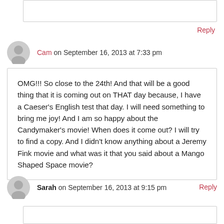[top comment box]
Reply
Cam on September 16, 2013 at 7:33 pm
OMG!!! So close to the 24th! And that will be a good thing that it is coming out on THAT day because, I have a Caeser's English test that day. I will need something to bring me joy! And I am so happy about the Candymaker's movie! When does it come out? I will try to find a copy. And I didn't know anything about a Jeremy Fink movie and what was it that you said about a Mango Shaped Space movie?
Reply
Sarah on September 16, 2013 at 9:15 pm